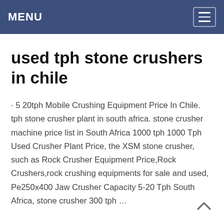MENU
used tph stone crushers in chile
· 5 20tph Mobile Crushing Equipment Price In Chile. tph stone crusher plant in south africa. stone crusher machine price list in South Africa 1000 tph 1000 Tph Used Crusher Plant Price, the XSM stone crusher, such as Rock Crusher Equipment Price,Rock Crushers,rock crushing equipments for sale and used, Pe250x400 Jaw Crusher Capacity 5-20 Tph South Africa, stone crusher 300 tph …